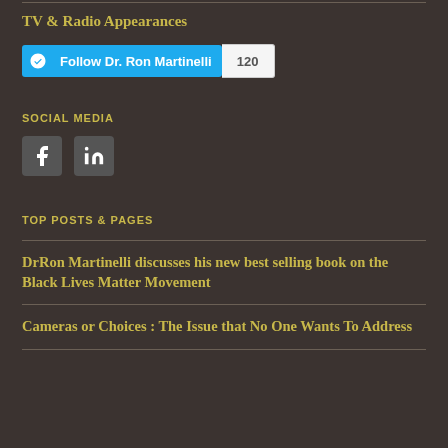TV & Radio Appearances
[Figure (other): WordPress Follow button for Dr. Ron Martinelli with follower count 120]
SOCIAL MEDIA
[Figure (other): Facebook and LinkedIn social media icons]
TOP POSTS & PAGES
DrRon Martinelli discusses his new best selling book on the Black Lives Matter Movement
Cameras or Choices : The Issue that No One Wants To Address